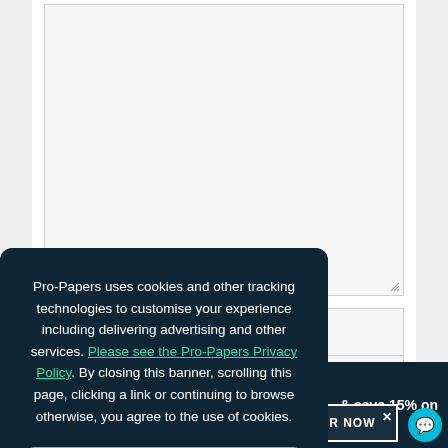[Figure (screenshot): Web page screenshot showing a text area form field (gray background, resize handle), partial input fields, a dark navy bottom bar with promotional text '& save 15% on', an ORDER NOW button with an X close icon, and a teal chat bubble icon in the bottom right.]
Pro-Papers uses cookies and other tracking technologies to customise your experience including delivering advertising and other services. Please see the Pro-Papers Privacy Policy. By closing this banner, scrolling this page, clicking a link or continuing to browse otherwise, you agree to the use of cookies.
OK
& save 15% on
ORDER NOW